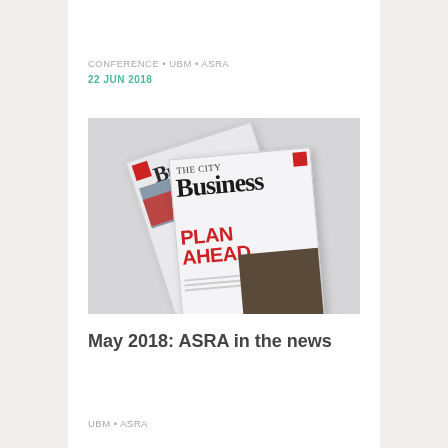CONFERENCE • UBM • ASRA
22 JUN 2018
[Figure (photo): Two copies of a Business magazine with 'PLAN AHEAD' on the cover, shown fanned out on a light background]
May 2018: ASRA in the news
UBM • ASRA